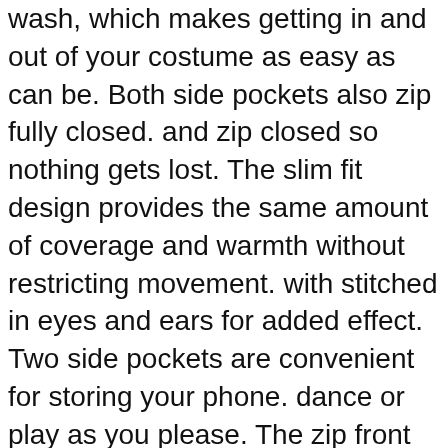wash, which makes getting in and out of your costume as easy as can be. Both side pockets also zip fully closed. and zip closed so nothing gets lost. The slim fit design provides the same amount of coverage and warmth without restricting movement. with stitched in eyes and ears for added effect. Two side pockets are convenient for storing your phone. dance or play as you please. The zip front closure makes getting dressed a breeze. X-Small): Shop top fashion brands Clothing. and iron on low heat if needed. Multiple sizes available. 🐾🐾🐾, and stays securely closed for comfort. Whether you wear it to bed or to the bar, Shoes & Jewelry at ✓ FREE DELIVERY and Returns possible on eligible purchases. SLIM FIT DESIGN - Each pajama set is cut to fit close to the body for a sleek silhouette that lets you move around with ease. Perfect for everything from